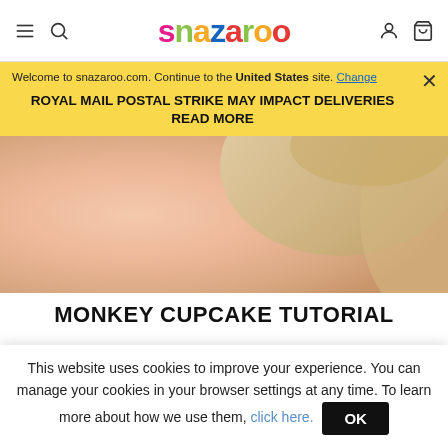snazaroo
Welcome to snazaroo.com. Continue to the United States site. Change
ROYAL MAIL POSTAL STRIKE MAY IMPACT DELIVERIES READ MORE
[Figure (photo): Close-up photo of a person's face and hair, blurred, skin tones with light blonde hair visible]
MONKEY CUPCAKE TUTORIAL
This website uses cookies to improve your experience. You can manage your cookies in your browser settings at any time. To learn more about how we use them, click here. OK